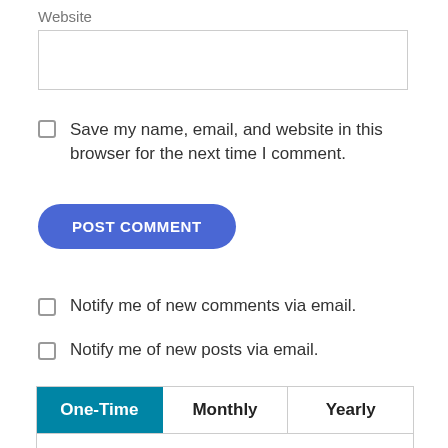Website
Save my name, email, and website in this browser for the next time I comment.
POST COMMENT
Notify me of new comments via email.
Notify me of new posts via email.
| One-Time | Monthly | Yearly |
| --- | --- | --- |
Make a one-time donation